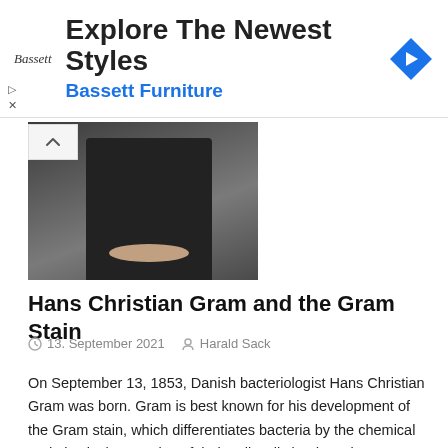[Figure (infographic): Advertisement banner for Bassett Furniture with logo text 'Bassett', headline 'Explore The Newest Styles', subheading 'Bassett Furniture' in blue, and a blue diamond navigation icon on the right.]
[Figure (photo): Black and white photograph of Hans Christian Gram, a man in a suit with clasped hands, partially visible from mid-torso up.]
Hans Christian Gram and the Gram Stain
13. September 2021   Harald Sack
On September 13, 1853, Danish bacteriologist Hans Christian Gram was born. Gram is best known for his development of the Gram stain, which differentiates bacteria by the chemical and physical properties of their cell walls by detecting peptidoglycan, which is present in a thick layer in gram-positive bacteria. Hans Christian Gram – Youth and Education Hans Christian Gram was the son of Frederik Terkel Julius Gram, a professor of jurisprudence, and Louise Christiane Roulund. In 1871